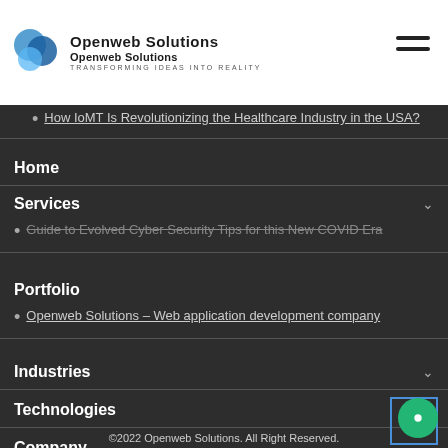Openweb Solutions - Transforming Ideas Into Reality
How IoMT is Revolutionizing the Healthcare Industry in the USA?
Home
Services
Guide to Evolved Cyber Security Tips for this New COVID Era
Portfolio
Openweb Solutions - Web application development company
Industries
Technologies
Company
Blog
Contact
©2022 Openweb Solutions. All Right Reserved.